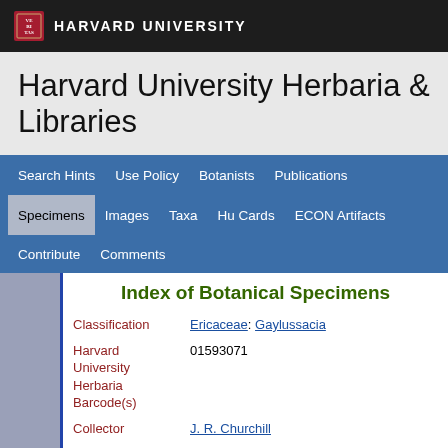HARVARD UNIVERSITY
Harvard University Herbaria & Libraries
Search Hints | Use Policy | Botanists | Publications | Specimens | Images | Taxa | Hu Cards | ECON Artifacts | Contribute | Comments
Index of Botanical Specimens
| Field | Value |
| --- | --- |
| Classification | Ericaceae: Gaylussacia |
| Harvard University Herbaria Barcode(s) | 01593071 |
| Collector | J. R. Churchill |
| Country | United States of America |
| State | Florida |
| Geography | North America: North America (CA, US, MX) (Region): United States of America: Florida: Duval County |